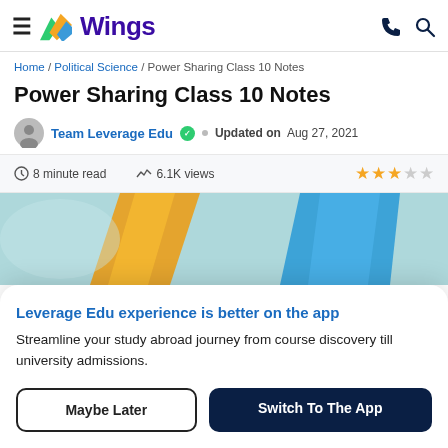Wings — navigation header with hamburger menu, Wings logo, phone icon, search icon
Home / Political Science / Power Sharing Class 10 Notes
Power Sharing Class 10 Notes
Team Leverage Edu ✓  •  Updated on  Aug 27, 2021
8 minute read  |  6.1K views  |  ★★★☆☆
[Figure (illustration): Hero banner with teal/mint background featuring diagonal gold and blue ribbon shapes]
Leverage Edu experience is better on the app
Streamline your study abroad journey from course discovery till university admissions.
Maybe Later | Switch To The App